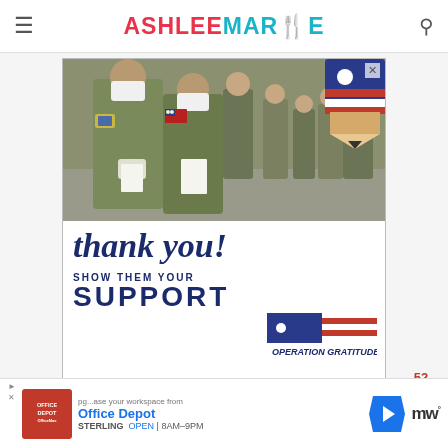ASHLEE MARIE
[Figure (photo): Advertisement image showing military personnel in camouflage uniforms and face masks, with a patriotic pencil decoration and 'thank you! SHOW THEM YOUR SUPPORT OPERATION GRATITUDE' text below.]
[Figure (other): Bottom banner advertisement for Office Depot showing logo, partial heading text, location STERLING, OPEN 8AM-9PM, and navigation arrow icon. Merriam-Webster logo visible on right.]